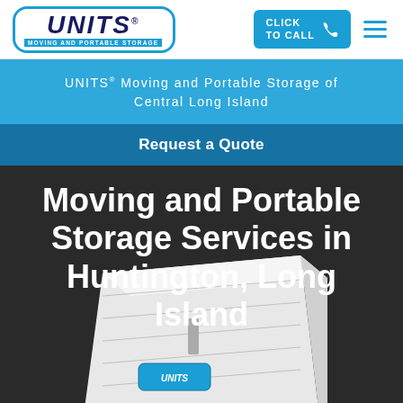[Figure (logo): UNITS Moving and Portable Storage logo — blue rounded rectangle border, bold italic navy UNITS text with registered mark, blue tagline bar reading MOVING AND PORTABLE STORAGE]
[Figure (other): Click To Call button with phone icon in blue]
UNITS® Moving and Portable Storage of Central Long Island
Request a Quote
Moving and Portable Storage Services in Huntington, Long Island
[Figure (photo): White UNITS portable storage container unit shown from corner angle on dark background]